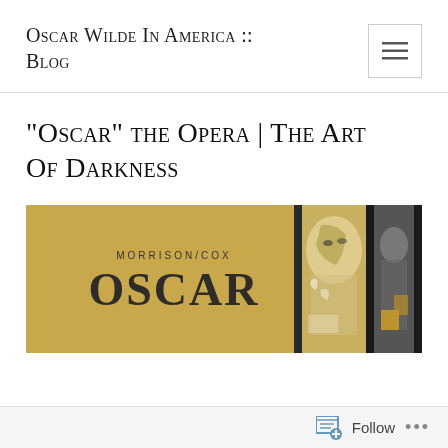Oscar Wilde In America :: Blog
“Oscar” the Opera | The Art Of Darkness
[Figure (illustration): Promotional banner for the opera 'Oscar' by Morrison/Cox. Gold/tan background on the left with text 'MORRISON/COX' above large bold 'OSCAR' lettering. Right half shows collaged black-and-white and yellow artistic portraits of a figure, split by vertical dark bars.]
Follow •••